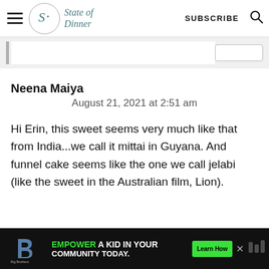State of Dinner — SUBSCRIBE
Neena Maiya
August 21, 2021 at 2:51 am
Hi Erin, this sweet seems very much like that from India...we call it mittai in Guyana. And funnel cake seems like the one we call jelabi (like the sweet in the Australian film, Lion).
[Figure (infographic): Advertisement banner: Big Brothers Big Sisters logo, text 'EMPOWER A KID IN YOUR COMMUNITY TODAY.' with a green 'Learn How' button and a close X button.]